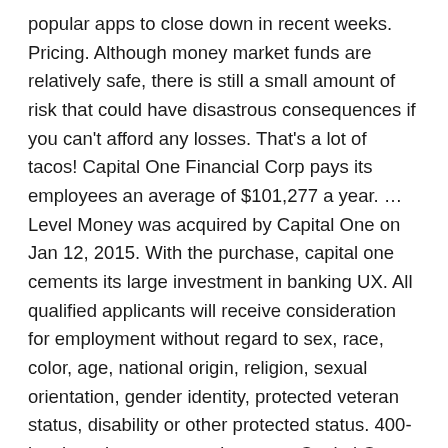popular apps to close down in recent weeks. Pricing. Although money market funds are relatively safe, there is still a small amount of risk that could have disastrous consequences if you can't afford any losses. That's a lot of tacos! Capital One Financial Corp pays its employees an average of $101,277 a year. … Level Money was acquired by Capital One on Jan 12, 2015. With the purchase, capital one cements its large investment in banking UX. All qualified applicants will receive consideration for employment without regard to sex, race, color, age, national origin, religion, sexual orientation, gender identity, protected veteran status, disability or other protected status. 400-level sections, rows and seats at Capital One Arena. Schools receive $5,000 toward their mascot programs just for participating. Announced today is the acquisition of Level Money by Capital One. Capital One buys budgeting app Level Money. Level One Bank has been awarded the highest 5-Star Superior rating from BauerFinancial, the nation's leading independent bank and credit union rating and research firm. Average Capital One hourly pay ranges from approximately $12.00 per hour for Senior Account Supervisor to $87.00 per hour for